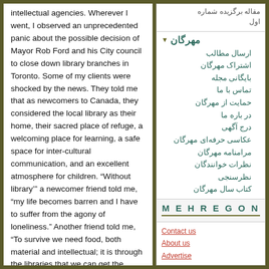intellectual agencies. Wherever I went, I observed an unprecedented panic about the possible decision of Mayor Rob Ford and his City council to close down library branches in Toronto. Some of my clients were shocked by the news. They told me that as newcomers to Canada, they considered the local library as their home, their sacred place of refuge, a welcoming place for learning, a safe space for inter-cultural communication, and an excellent atmosphere for children. “Without library’” a newcomer friend told me, “my life becomes barren and I have to suffer from the agony of loneliness.” Another friend told me, “To survive we need food, both material and intellectual; it is through the libraries that we can get the latter.”
مقاله برگزیده شماره اول
مهرگان
ارسال مطالب
اشتراک مهرگان
بایگانی مجله
تماس با ما
حمایت از مهرگان
در باره ما
درج آگهی
عکاسی حرفهای مهرگان
مرامنامه مهرگان
نظرات خوانندگان
نظرسنجی
کتاب سال مهرگان
Sitemap
M E H R E G O N
Contact us
About us
Advertise